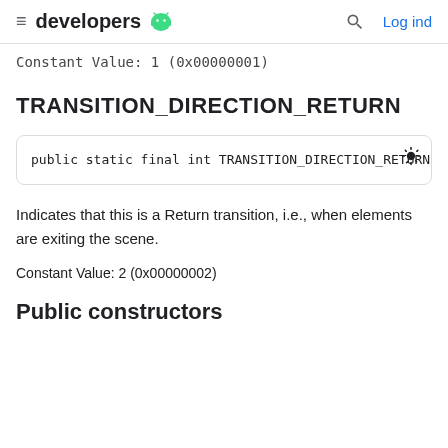developers | Log ind
Constant Value: 1 (0x00000001)
TRANSITION_DIRECTION_RETURN
public static final int TRANSITION_DIRECTION_RETURN
Indicates that this is a Return transition, i.e., when elements are exiting the scene.
Constant Value: 2 (0x00000002)
Public constructors